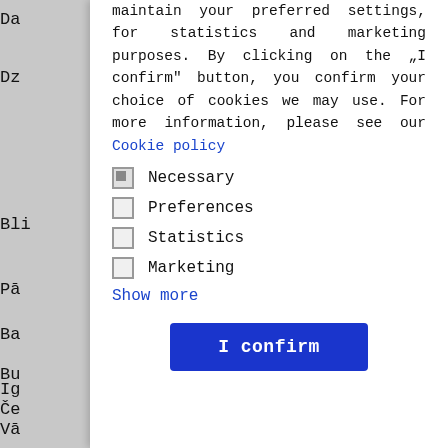maintain your preferred settings, for statistics and marketing purposes. By clicking on the „I confirm" button, you confirm your choice of cookies we may use. For more information, please see our Cookie policy
Necessary
Preferences
Statistics
Marketing
Show more
I confirm